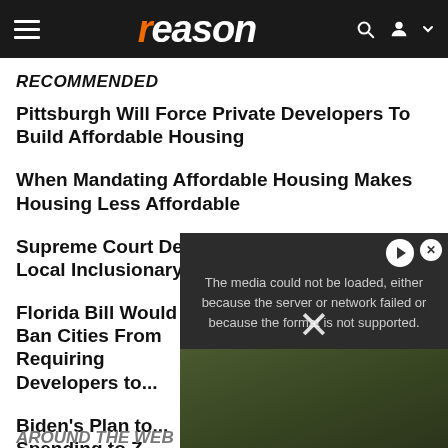reason
RECOMMENDED
Pittsburgh Will Force Private Developers To Build Affordable Housing
When Mandating Affordable Housing Makes Housing Less Affordable
Supreme Court Declines To Hear Challenge to Local Inclusionary Zoning Ordinance
Florida Bill Would Ban Cities From Requiring Developers to...
Biden's Plan to... Spending to Z... Housing Sho...
[Figure (screenshot): Video player overlay showing error message: The media could not be loaded, either because the server or network failed or because the format is not supported. With a close (X) button and play button icon.]
AROUND THE WEB